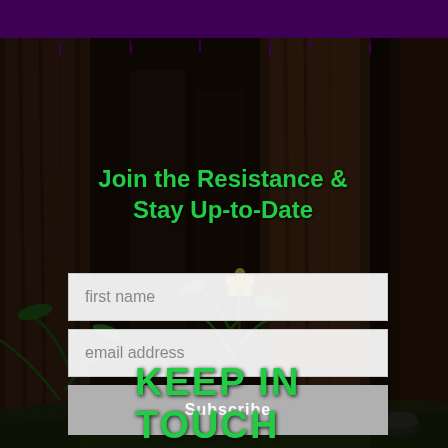[Figure (illustration): Dark forest background with large tree trunks, ferns, and undergrowth. Purple header bar at top with drip effect. Green 'KEEP IN TOUCH' text partially visible at bottom.]
Join the Resistance & Stay Up-to-Date
first name
email address
Subscribe
KEEP IN TOUCH